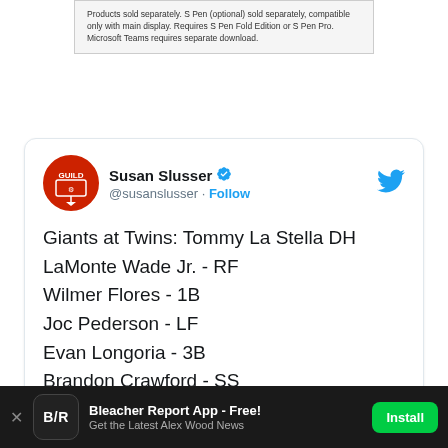Products sold separately. S Pen (optional) sold separately, compatible only with main display. Requires S Pen Fold Edition or S Pen Pro. Microsoft Teams requires separate download.
[Figure (screenshot): Tweet from Susan Slusser (@susanslusser) listing Giants at Twins lineup: Tommy La Stella DH, LaMonte Wade Jr. - RF, Wilmer Flores - 1B, Joc Pederson - LF, Evan Longoria - 3B, Brandon Crawford - SS, Thairo Estrada - 2B]
Bleacher Report App - Free! Get the Latest Alex Wood News